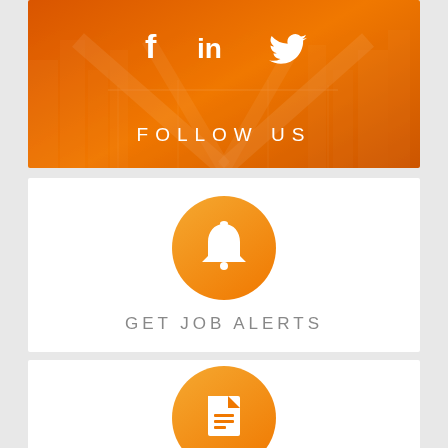[Figure (infographic): Orange banner with city skyline background overlay, social media icons (Facebook, LinkedIn, Twitter) and FOLLOW US text in white]
FOLLOW US
[Figure (infographic): White card with orange circle bell icon and GET JOB ALERTS text]
GET JOB ALERTS
[Figure (infographic): White card with partial orange circle icon visible at bottom of page]